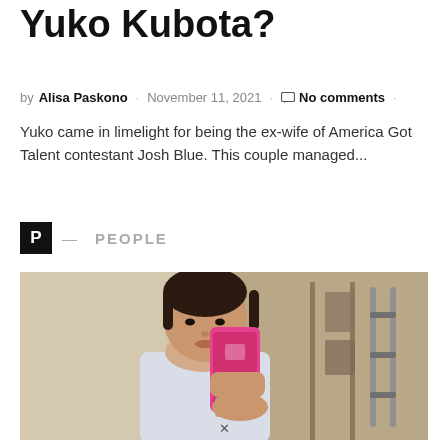Yuko Kubota?
by Alisa Paskono · November 11, 2021 · No comments ·
Yuko came in limelight for being the ex-wife of America Got Talent contestant Josh Blue. This couple managed...
P — PEOPLE
[Figure (photo): A young woman taking a mirror selfie with a pink phone, wearing a light top, with gym equipment visible in the background.]
X